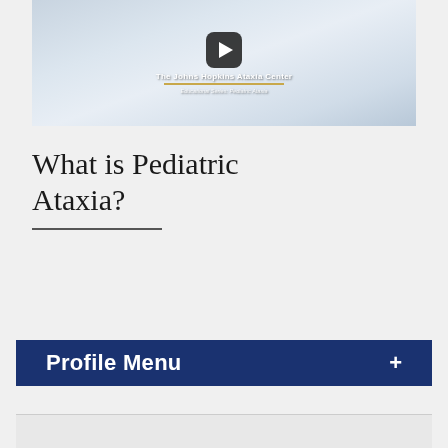[Figure (screenshot): Video thumbnail for The Johns Hopkins Ataxia Center Educational Series: Pediatric Ataxia, showing a play button on a light blue-gray gradient background with the center's title text and subtitle.]
What is Pediatric Ataxia?
Profile Menu